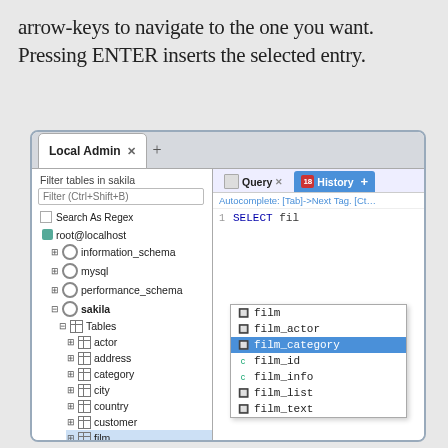arrow-keys to navigate to the one you want. Pressing ENTER inserts the selected entry.
[Figure (screenshot): MySQL Workbench screenshot showing the Local Admin tab with a database tree on the left (sakila database expanded with Tables including actor, address, category, city, country, customer, film, film_actor) and a Query editor on the right with autocomplete dropdown showing film, film_actor, film_category (highlighted), film_id, film_info, film_list, film_text suggestions for 'fil' typed in a SELECT statement.]